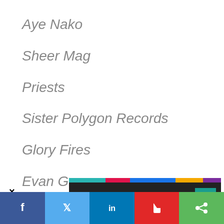Aye Nako
Sheer Mag
Priests
Sister Polygon Records
Glory Fires
Evan Greer
Adam Torres
[Figure (screenshot): Ad banner: Never miss another concert with Songkick logo, colorful top and bottom bars, overlaid on the list. An X close button is visible to the left.]
Don G...
[Figure (screenshot): Social share bar at bottom with Facebook, Twitter, LinkedIn, Flipboard, and share buttons]